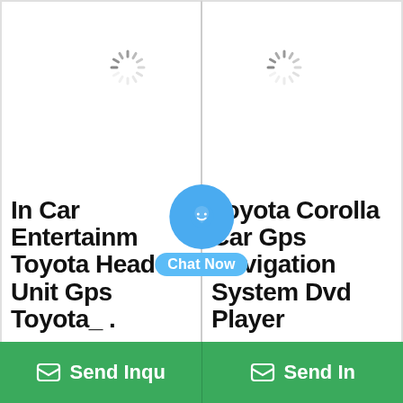[Figure (screenshot): Two product listing cards side by side on a shopping platform. Left card shows a loading spinner and product title 'In Car Entertainm Toyota Head Unit Gps Toyota_'. Right card shows a loading spinner and product title 'Toyota Corolla Car Gps Navigation System Dvd Player'. A blue chat bubble with smiley face and 'Chat Now' label overlays the center. Two green 'Send Inqu' / 'Send In' buttons appear at the bottom.]